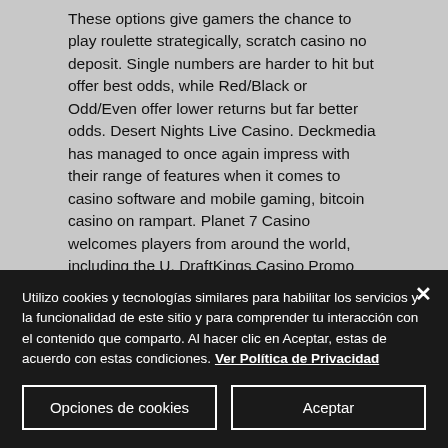These options give gamers the chance to play roulette strategically, scratch casino no deposit. Single numbers are harder to hit but offer best odds, while Red/Black or Odd/Even offer lower returns but far better odds. Desert Nights Live Casino. Deckmedia has managed to once again impress with their range of features when it comes to casino software and mobile gaming, bitcoin casino on rampart. Planet 7 Casino welcomes players from around the world, including the U. DraftKings Casino Promo
Utilizo cookies y tecnologías similares para habilitar los servicios y la funcionalidad de este sitio y para comprender tu interacción con el contenido que comparto. Al hacer clic en Aceptar, estas de acuerdo con estas condiciones. Ver Política de Privacidad
Opciones de cookies
Aceptar